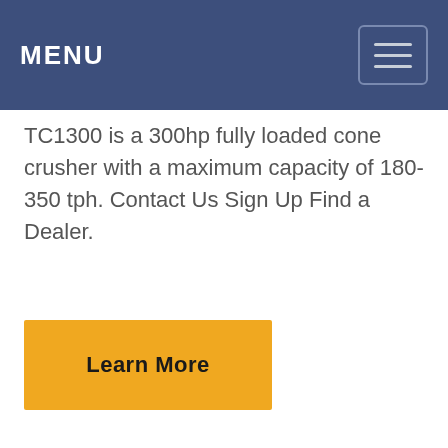MENU
TC1300 is a 300hp fully loaded cone crusher with a maximum capacity of 180-350 tph. Contact Us Sign Up Find a Dealer.
[Figure (other): Learn More button — yellow rectangular button with bold text 'Learn More']